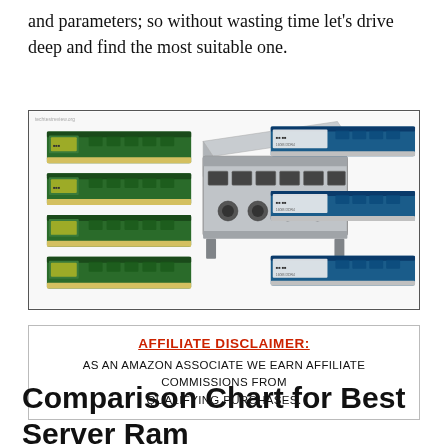and parameters; so without wasting time let's drive deep and find the most suitable one.
[Figure (photo): Collage of server RAM sticks (green PCB memory modules) on the left and right, and a rack-mount server unit in the center, shown against a white background inside a bordered box.]
AFFILIATE DISCLAIMER: AS AN AMAZON ASSOCIATE WE EARN AFFILIATE COMMISSIONS FROM QUALIFYING PURCHASES.
Comparison Chart for Best Server Ram